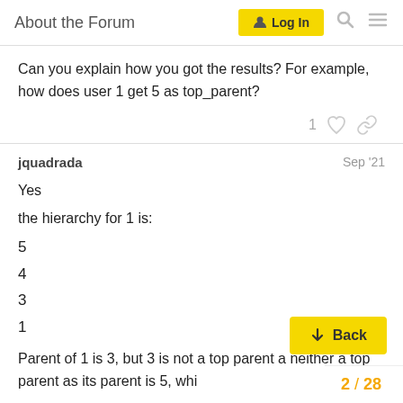About the Forum  Log In
Can you explain how you got the results? For example, how does user 1 get 5 as top_parent?
jquadrada  Sep '21
Yes
the hierarchy for 1 is:
5
4
3
1
Parent of 1 is 3, but 3 is not a top parent a neither a top parent as its parent is 5, whi